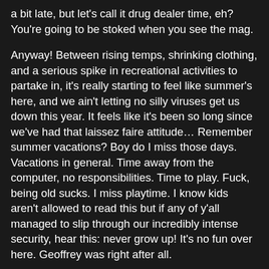a bit late, but let's call it drug dealer time, eh? You're going to be stoked when you see the mag.
Anyway! Between rising temps, shrinking clothing, and a serious spike in recreational activities to partake in, it's really starting to feel like summer's here, and we ain't letting no silly viruses get us down this year. It feels like it's been so long since we've had that laissez faire attitude… Remember summer vacations? Boy do I miss those days. Vacations in general. Time away from the computer, no responsibilities. Time to play. Fuck, being old sucks. I miss playtime. I know kids aren't allowed to read this but if any of y'all managed to slip through our incredibly intense security, hear this: never grow up! It's no fun over here. Geoffrey was right after all.
Oh well, in the spirit of summertime, and the fun we used to have, I decided to put together a few staples for a day out at the beach, or on the water. Sure it's sandy over there, but you gotta leave the house sometime. I guess it's time to shave the beard, huh?
As always, feel free to shout at me on twitter if I forgot to mention your favorite product, or feel free to absolutely